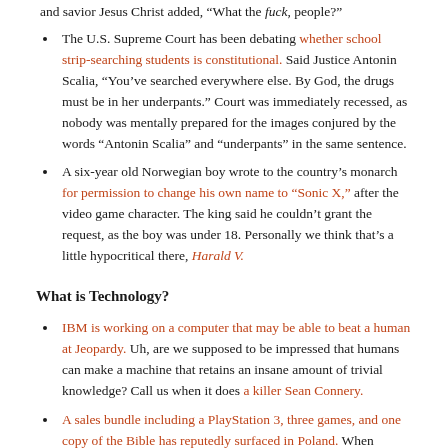and savior Jesus Christ added, “What the fuck, people?”
The U.S. Supreme Court has been debating whether school strip-searching students is constitutional. Said Justice Antonin Scalia, “You’ve searched everywhere else. By God, the drugs must be in her underpants.” Court was immediately recessed, as nobody was mentally prepared for the images conjured by the words “Antonin Scalia” and “underpants” in the same sentence.
A six-year old Norwegian boy wrote to the country’s monarch for permission to change his own name to “Sonic X,” after the video game character. The king said he couldn’t grant the request, as the boy was under 18. Personally we think that’s a little hypocritical there, Harald V.
What is Technology?
IBM is working on a computer that may be able to beat a human at Jeopardy. Uh, are we supposed to be impressed that humans can make a machine that retains an insane amount of trivial knowledge? Call us when it does a killer Sean Connery.
A sales bundle including a PlayStation 3, three games, and one copy of the Bible has reputedly surfaced in Poland. When reached for comment, our lord and savior Jesus Christ said, “No, seriously, what